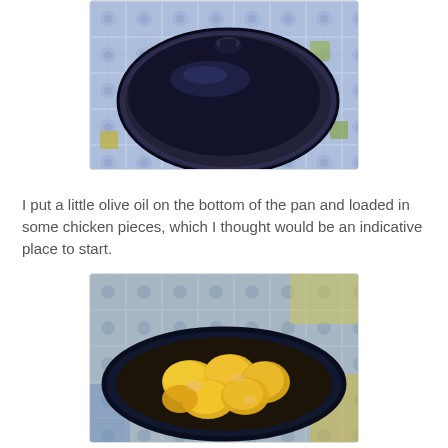[Figure (photo): A black shiny pot lid resting on a decorative blue and white tiled surface. The lid is oval/round, dark navy/black with a metal knob on top.]
I put a little olive oil on the bottom of the pan and loaded in some chicken pieces, which I thought would be an indicative place to start.
[Figure (photo): Raw yellow-marinated chicken pieces packed into a dark navy/black oval pan, placed on a decorative blue and yellow tiled surface.]